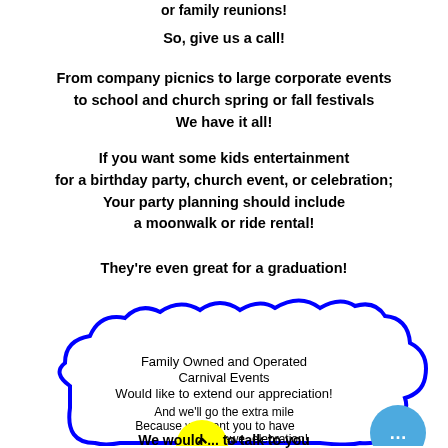or family reunions!
So, give us a call!
From company picnics to large corporate events to school and church spring or fall festivals We have it all!
If you want some kids entertainment for a birthday party, church event, or celebration; Your party planning should include a moonwalk or ride rental!
They're even great for a graduation!
[Figure (illustration): A blue cloud-shaped speech bubble containing text about Family Owned and Operated Carnival Events, with a yellow circular button with a chevron up arrow at the bottom and a blue circle with ellipsis on the right side.]